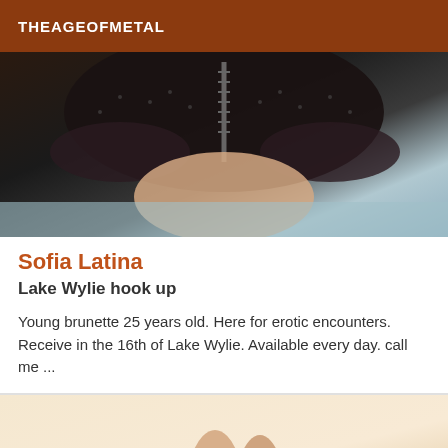THEAGEOFMETAL
[Figure (photo): Close-up photo of a person wearing black lace lingerie top]
Sofia Latina
Lake Wylie hook up
Young brunette 25 years old. Here for erotic encounters. Receive in the 16th of Lake Wylie. Available every day. call me ...
[Figure (photo): Photo of legs wearing black high heel shoes]